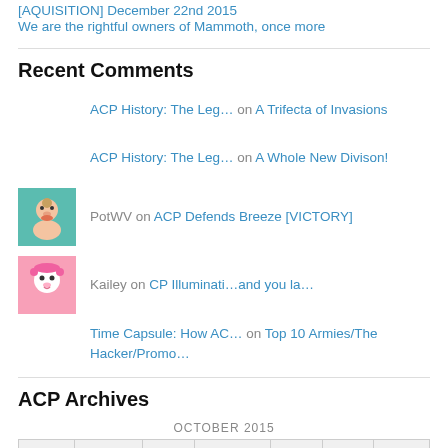[AQUISITION] December 22nd 2015
We are the rightful owners of Mammoth, once more
Recent Comments
ACP History: The Leg… on A Trifecta of Invasions
ACP History: The Leg… on A Whole New Divison!
PotWV on ACP Defends Breeze [VICTORY]
Kailey on CP Illuminati…and you la…
Time Capsule: How AC… on Top 10 Armies/The Hacker/Promo…
ACP Archives
| S | M | T | W | T | F | S |
| --- | --- | --- | --- | --- | --- | --- |